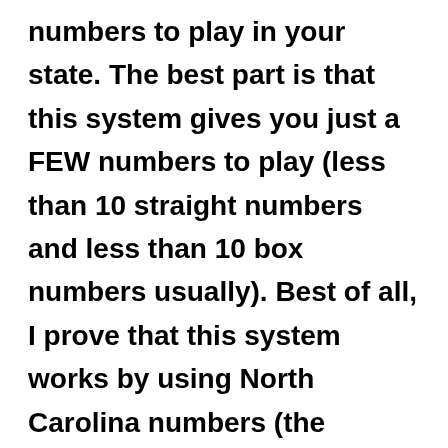numbers to play in your state. The best part is that this system gives you just a FEW numbers to play (less than 10 straight numbers and less than 10 box numbers usually). Best of all, I prove that this system works by using North Carolina numbers (the system predicted that 021 would hit NC straight last week on Thursday October 27; 9 days later 021 hit straight!). I actually used a different